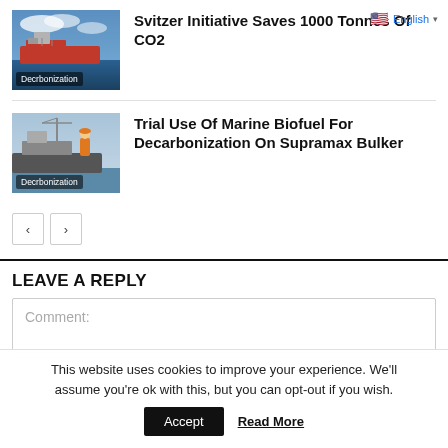[Figure (photo): Red tanker ship at sea with cloudy sky]
Decrbonization
Svitzer Initiative Saves 1000 Tonnes Of CO2
[Figure (photo): Marine vessel with person in orange suit on deck]
Decrbonization
Trial Use Of Marine Biofuel For Decarbonization On Supramax Bulker
LEAVE A REPLY
Comment:
This website uses cookies to improve your experience. We'll assume you're ok with this, but you can opt-out if you wish.
Accept
Read More